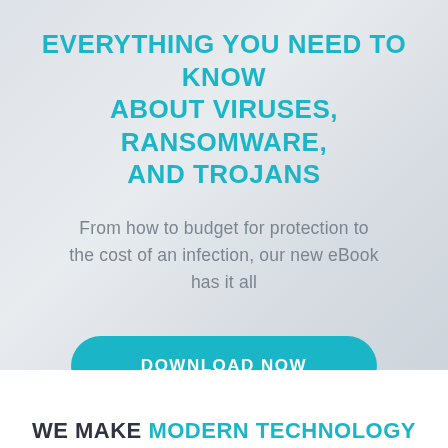EVERYTHING YOU NEED TO KNOW ABOUT VIRUSES, RANSOMWARE, AND TROJANS
From how to budget for protection to the cost of an infection, our new eBook has it all
DOWNLOAD NOW
WE MAKE MODERN TECHNOLOGY